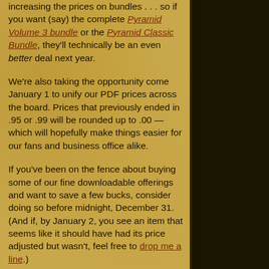increasing the prices on bundles... so if you want (say) the complete Pyramid Volume 3 bundle or the Pyramid Classic Bundle, they'll technically be an even better deal next year.
We're also taking the opportunity come January 1 to unify our PDF prices across the board. Prices that previously ended in .95 or .99 will be rounded up to .00 — which will hopefully make things easier for our fans and business office alike.
If you've been on the fence about buying some of our fine downloadable offerings and want to save a few bucks, consider doing so before midnight, December 31. (And if, by January 2, you see an item that seems like it should have had its price adjusted but wasn't, feel free to drop me a line.)
-- Steven Marsh